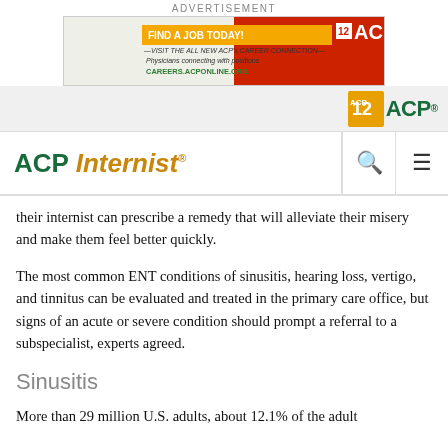ADVERTISEMENT
[Figure (other): ACP Career Connection advertisement banner — Find a Job Today, Visit the all new ACP's Career Connection, Physicians connecting with positions, CAREERS.ACPONLINE.ORG]
[Figure (logo): ACP logo in navigation bar]
ACP Internist
their internist can prescribe a remedy that will alleviate their misery and make them feel better quickly.
The most common ENT conditions of sinusitis, hearing loss, vertigo, and tinnitus can be evaluated and treated in the primary care office, but signs of an acute or severe condition should prompt a referral to a subspecialist, experts agreed.
Sinusitis
More than 29 million U.S. adults, about 12.1% of the adult